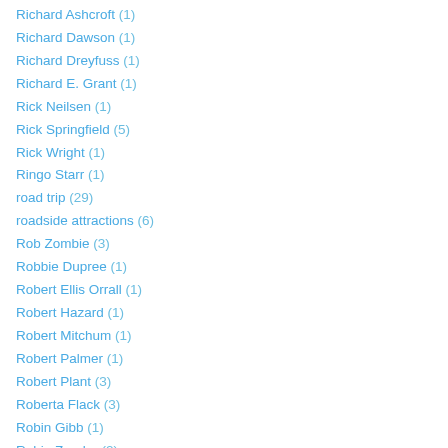Richard Ashcroft (1)
Richard Dawson (1)
Richard Dreyfuss (1)
Richard E. Grant (1)
Rick Neilsen (1)
Rick Springfield (5)
Rick Wright (1)
Ringo Starr (1)
road trip (29)
roadside attractions (6)
Rob Zombie (3)
Robbie Dupree (1)
Robert Ellis Orrall (1)
Robert Hazard (1)
Robert Mitchum (1)
Robert Palmer (1)
Robert Plant (3)
Roberta Flack (3)
Robin Gibb (1)
Robin Zander (2)